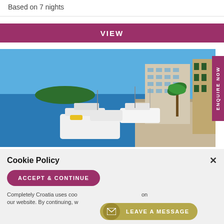Based on 7 nights
VIEW
[Figure (photo): Coastal harbor scene with white motorboats moored at a stone promenade, a modern multi-story hotel building, palm trees, and a clear blue sky in the background. Classic Mediterranean setting, likely Croatia.]
ENQUIRE NOW
Cookie Policy
ACCEPT & CONTINUE
Completely Croatia uses coo on our website. By continuing, w
LEAVE A MESSAGE